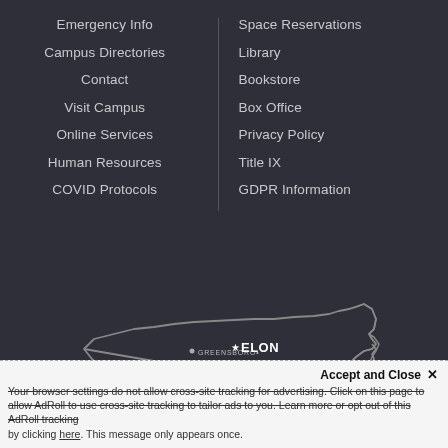Emergency Info
Campus Directories
Contact
Visit Campus
Online Services
Human Resources
COVID Protocols
Space Reservations
Library
Bookstore
Box Office
Privacy Policy
Title IX
GDPR Information
[Figure (map): Outline map of North Carolina with city markers: GREENSBORO, ELON (starred), RALEIGH, CHARLOTTE]
Accept and Close ×
Your browser settings do not allow cross-site tracking for advertising. Click on this page to allow AdRoll to use cross-site tracking to tailor ads to you. Learn more or opt out of this AdRoll tracking by clicking here. This message only appears once.